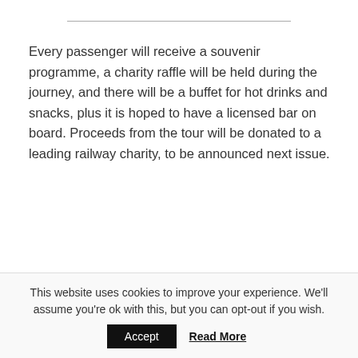Every passenger will receive a souvenir programme, a charity raffle will be held during the journey, and there will be a buffet for hot drinks and snacks, plus it is hoped to have a licensed bar on board. Proceeds from the tour will be donated to a leading railway charity, to be announced next issue.
Fares for this special train are:
Standard class: £99   child £50
This website uses cookies to improve your experience. We'll assume you're ok with this, but you can opt-out if you wish.